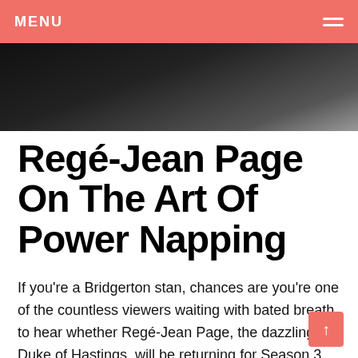MENU
[Figure (photo): Dark black-and-white photograph, partial view of a person, used as hero/banner image at top of article]
Regé-Jean Page On The Art Of Power Napping
If you're a Bridgerton stan, chances are you're one of the countless viewers waiting with bated breath to hear whether Regé-Jean Page, the dazzling Duke of Hastings, will be returning for Season 3. Page essentially became a household name and the topic of many saucy group texts with his role in the first season — for good reason. As the duke, he